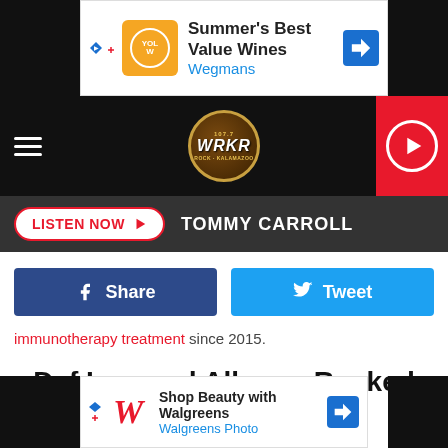[Figure (screenshot): Wegmans ad banner: Summer's Best Value Wines, with Wegmans logo and navigation arrow]
[Figure (logo): WRKR 107.7 radio station logo in circular badge on dark nav bar with hamburger menu and red play button]
LISTEN NOW  TOMMY CARROLL
[Figure (screenshot): Facebook Share button (dark blue) and Twitter Tweet button (light blue)]
immunotherapy treatment since 2015.
Def Leppard Albums Ranked
[Figure (screenshot): Walgreens ad banner: Shop Beauty with Walgreens, Walgreens Photo]